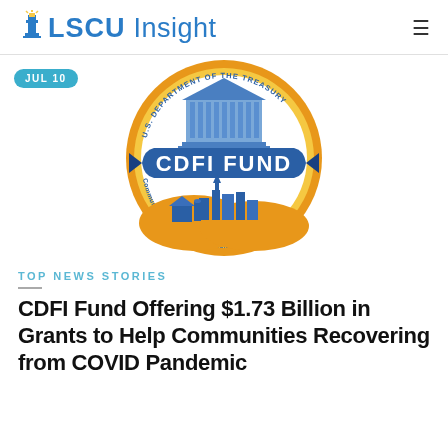LSCU Insight
[Figure (logo): CDFI Fund logo — U.S. Department of the Treasury Community Development Financial Institutions Fund seal, circular gold border with blue ribbon banner reading 'CDFI FUND', featuring a government building and cityscape/farmscape illustration.]
JUL 10
TOP NEWS STORIES
CDFI Fund Offering $1.73 Billion in Grants to Help Communities Recovering from COVID Pandemic